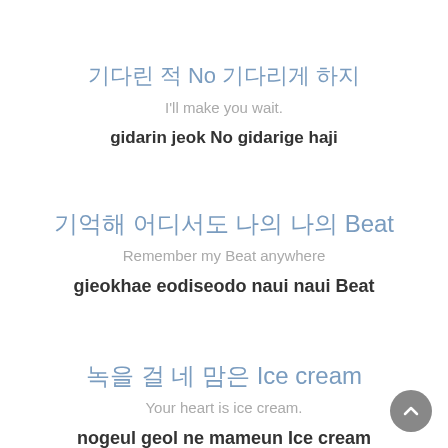기다린 적 No 기다리게 하지
I'll make you wait.
gidarin jeok No gidarige haji
기억해 어디서도 나의 나의 Beat
Remember my Beat anywhere
gieokhae eodiseodo naui naui Beat
녹을 걸 네 맘은 Ice cream
Your heart is ice cream.
nogeul geol ne mameun Ice cream